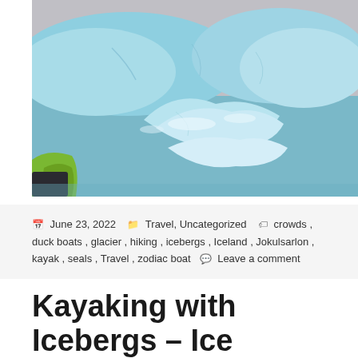[Figure (photo): Close-up photograph of large blue icebergs floating in water, with a green jacket visible at the bottom left corner. The icebergs show varied shades of blue and white with a misty grey sky in the background.]
June 23, 2022  Travel, Uncategorized  crowds , duck boats , glacier , hiking , icebergs , Iceland , Jokulsarlon , kayak , seals , Travel , zodiac boat  Leave a comment
Kayaking with Icebergs – Ice Guides – Heinabergslon,